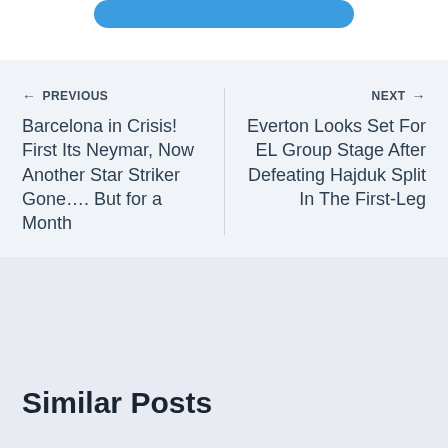[Figure (other): Blue rounded button/pill at top of page, partially cut off]
← PREVIOUS
Barcelona in Crisis! First Its Neymar, Now Another Star Striker Gone…. But for a Month
NEXT →
Everton Looks Set For EL Group Stage After Defeating Hajduk Split In The First-Leg
Similar Posts